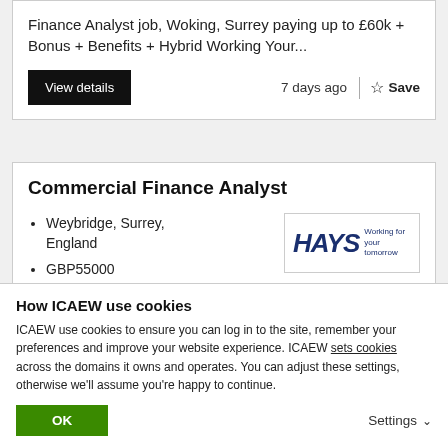Finance Analyst job, Woking, Surrey paying up to £60k + Bonus + Benefits + Hybrid Working Your...
View details
7 days ago
Save
Commercial Finance Analyst
Weybridge, Surrey, England
GBP55000
[Figure (logo): Hays recruitment logo with text 'Working for your tomorrow']
How ICAEW use cookies
ICAEW use cookies to ensure you can log in to the site, remember your preferences and improve your website experience. ICAEW sets cookies across the domains it owns and operates. You can adjust these settings, otherwise we'll assume you're happy to continue.
OK
Settings